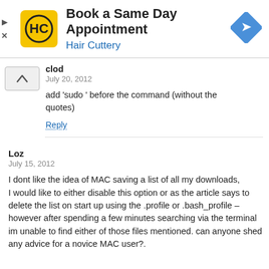[Figure (infographic): Hair Cuttery advertisement banner: yellow logo with HC initials, 'Book a Same Day Appointment' heading, 'Hair Cuttery' subtitle in blue, blue diamond navigation arrow icon on right.]
clod
July 20, 2012

add 'sudo ' before the command (without the quotes)

Reply
Loz
July 15, 2012

I dont like the idea of MAC saving a list of all my downloads,
I would like to either disable this option or as the article says to delete the list on start up using the .profile or .bash_profile – however after spending a few minutes searching via the terminal im unable to find either of those files mentioned. can anyone shed any advice for a novice MAC user?.